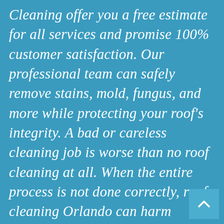Cleaning offer you a free estimate for all services and promise 100% customer satisfaction. Our professional team can safely remove stains, mold, fungus, and more while protecting your roof's integrity. A bad or careless cleaning job is worse than no roof cleaning at all. When the entire process is not done correctly, roof cleaning Orlando can harm materials and shorten their life span, something that will cost you money in the long term. You can trust us to do an outstanding job cleaning and prolonging your roof's lifespan through proper maintenance.